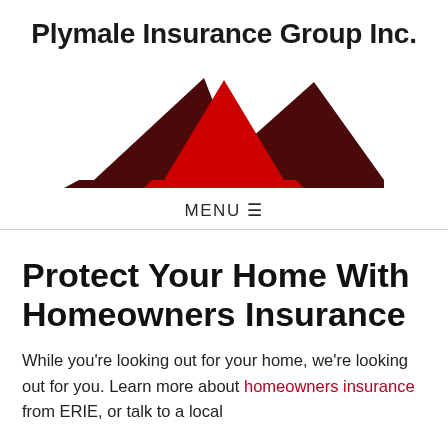Plymale Insurance Group Inc.
[Figure (logo): Logo with three mountain/triangle shapes: two dark maroon triangles flanking a bright red central triangle, arranged in a layered mountain formation]
MENU ☰
Protect Your Home With Homeowners Insurance
While you're looking out for your home, we're looking out for you. Learn more about homeowners insurance from ERIE, or talk to a local